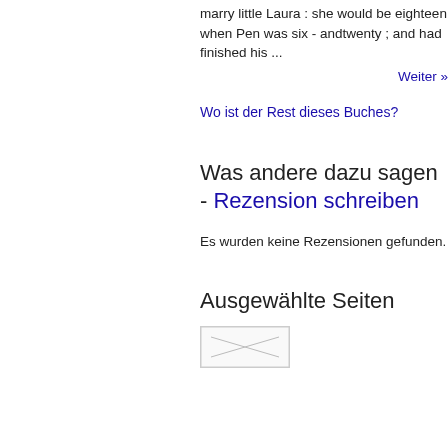marry little Laura : she would be eighteen when Pen was six - andtwenty ; and had finished his ...
Weiter »
Wo ist der Rest dieses Buches?
Was andere dazu sagen - Rezension schreiben
Es wurden keine Rezensionen gefunden.
Ausgewählte Seiten